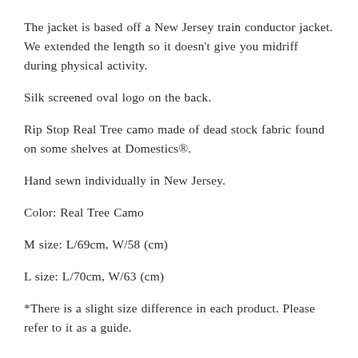The jacket is based off a New Jersey train conductor jacket. We extended the length so it doesn't give you midriff during physical activity.
Silk screened oval logo on the back.
Rip Stop Real Tree camo made of dead stock fabric found on some shelves at Domestics®.
Hand sewn individually in New Jersey.
Color: Real Tree Camo
M size: L/69cm, W/58 (cm)
L size: L/70cm, W/63 (cm)
*There is a slight size difference in each product. Please refer to it as a guide.